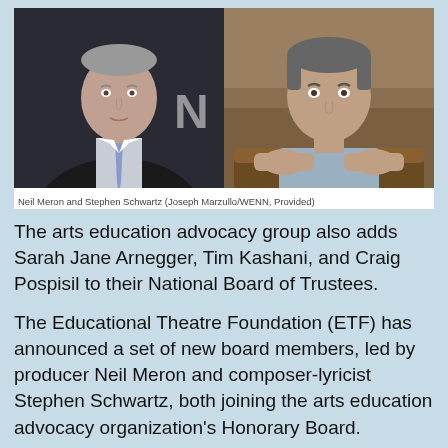[Figure (photo): Side-by-side photos of two men: Neil Meron (left, wearing suit and tie, against dark background) and Stephen Schwartz (right, resting chin on hands, against warm background)]
Neil Meron and Stephen Schwartz (Joseph Marzullo/WENN, Provided)
The arts education advocacy group also adds Sarah Jane Arnegger, Tim Kashani, and Craig Pospisil to their National Board of Trustees.
The Educational Theatre Foundation (ETF) has announced a set of new board members, led by producer Neil Meron and composer-lyricist Stephen Schwartz, both joining the arts education advocacy organization's Honorary Board.